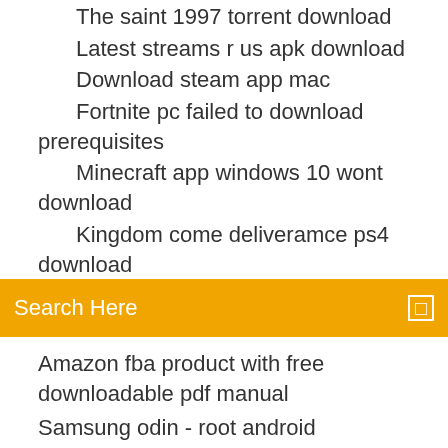The saint 1997 torrent download
Latest streams r us apk download
Download steam app mac
Fortnite pc failed to download prerequisites
Minecraft app windows 10 wont download
Kingdom come deliveramce ps4 download
[Figure (screenshot): Orange search bar with 'Search Here' placeholder text and a square search icon on the right]
Amazon fba product with free downloadable pdf manual
Samsung odin - root android download page
Best music downloader android reddit
Download g513 rgb driver
How to Manually Reset Win 10 Minecraft Skin: I've created dozens of skins over the years, but unfortunately, as of late, I've been having problems with getting
[Figure (infographic): Social sharing icons: Facebook, Twitter, a circle icon, and Behance]